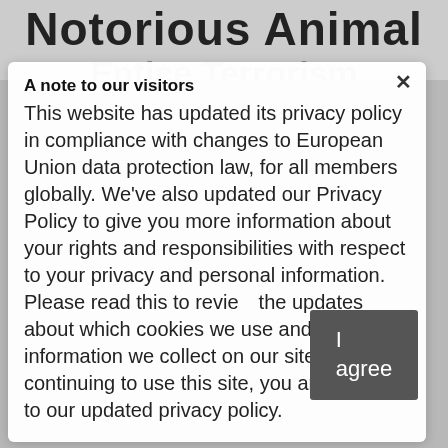Notorious Animal
Entice Terrorism
June 21, 2022 by benzinedniaeddineoriginal
A note to our visitors
This website has updated its privacy policy in compliance with changes to European Union data protection law, for all members globally. We've also updated our Privacy Policy to give you more information about your rights and responsibilities with respect to your privacy and personal information. Please read this to review the updates about which cookies we use and what information we collect on our site. By continuing to use this site, you are agreeing to our updated privacy policy.
I agree